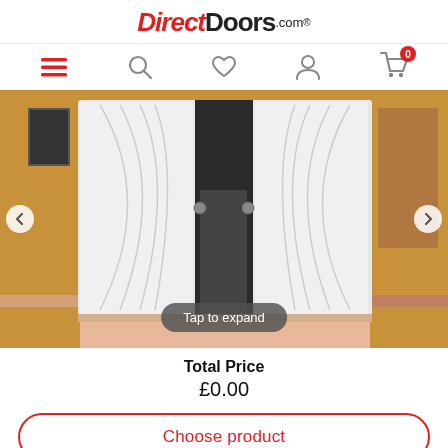DirectDoors.com
[Figure (screenshot): Navigation icons row: hamburger menu (red), search, heart/wishlist, user profile, shopping cart with badge showing 0]
[Figure (photo): White bi-fold/sliding wardrobe doors with curved decorative glass panels, shown in a room setting with orange walls and pink floor. A 'Tap to expand' pill button overlays the bottom center of the image. Left and right navigation arrows on sides.]
Total Price
£0.00
Choose product